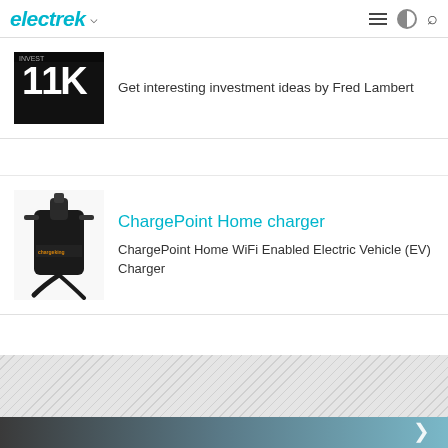electrek
[Figure (screenshot): Stylized newspaper/investment logo thumbnail in black and white]
Get interesting investment ideas by Fred Lambert
[Figure (photo): ChargePoint Home EV charger device mounted on wall, black unit with cable]
ChargePoint Home charger
ChargePoint Home WiFi Enabled Electric Vehicle (EV) Charger
[Figure (other): Diagonal striped gray background section]
[Figure (other): Dark gradient footer section with right chevron arrow]